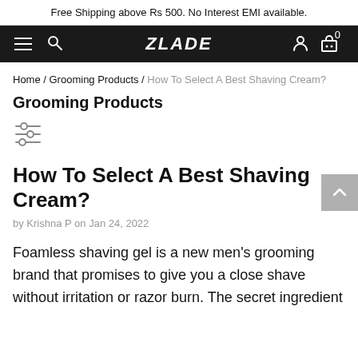Free Shipping above Rs 500. No Interest EMI available.
[Figure (logo): Zlade website navigation bar with hamburger menu, search icon, ZLADE logo, user account icon, and cart icon showing 0 items]
Home / Grooming Products / How To Select A Best Shaving Cream?
Grooming Products
[Figure (other): Filter/sort icon (three horizontal sliders)]
How To Select A Best Shaving Cream?
by Krishna P on Jan 24, 2022
Foamless shaving gel is a new men's grooming brand that promises to give you a close shave without irritation or razor burn. The secret ingredient